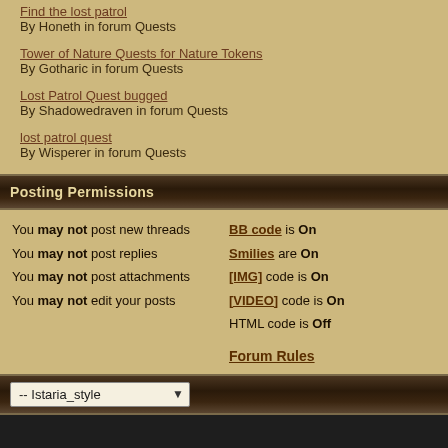Find the lost patrol — By Honeth in forum Quests
Tower of Nature Quests for Nature Tokens — By Gotharic in forum Quests
Lost Patrol Quest bugged — By Shadowedraven in forum Quests
lost patrol quest — By Wisperer in forum Quests
Posting Permissions
You may not post new threads
You may not post replies
You may not post attachments
You may not edit your posts
BB code is On
Smilies are On
[IMG] code is On
[VIDEO] code is On
HTML code is Off

Forum Rules
-- Istaria_style
All times are
Powered
Copyright © 2022 v